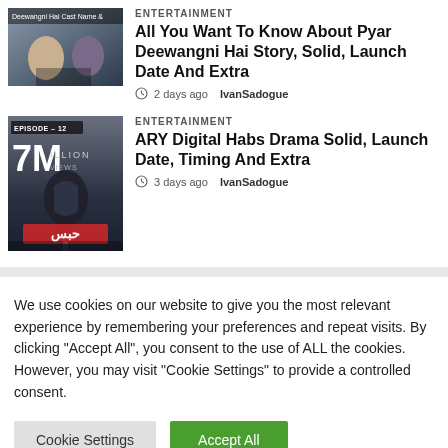ENTERTAINMENT
All You Want To Know About Pyar Deewangni Hai Story, Solid, Launch Date And Extra
2 days ago   IvanSadogue
ENTERTAINMENT
ARY Digital Habs Drama Solid, Launch Date, Timing And Extra
3 days ago   IvanSadogue
We use cookies on our website to give you the most relevant experience by remembering your preferences and repeat visits. By clicking "Accept All", you consent to the use of ALL the cookies. However, you may visit "Cookie Settings" to provide a controlled consent.